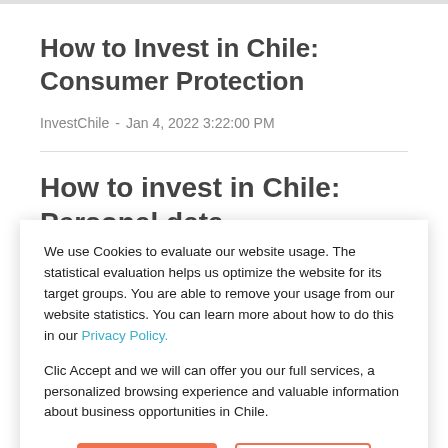How to Invest in Chile: Consumer Protection
InvestChile  -  Jan 4, 2022 3:22:00 PM
How to invest in Chile: Personal data
We use Cookies to evaluate our website usage. The statistical evaluation helps us optimize the website for its target groups. You are able to remove your usage from our website statistics. You can learn more about how to do this in our Privacy Policy.
Clic Accept and we will can offer you our full services, a personalized browsing experience and valuable information about business opportunities in Chile.